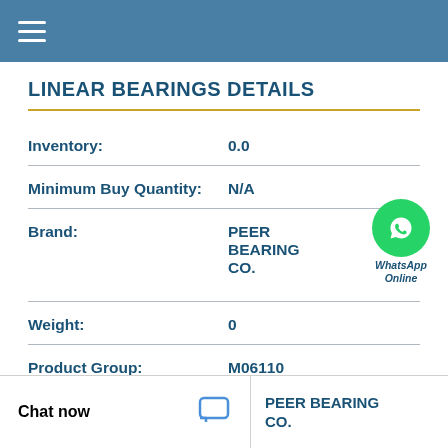LINEAR BEARINGS DETAILS
| Field | Value |
| --- | --- |
| Inventory: | 0.0 |
| Minimum Buy Quantity: | N/A |
| Brand: | PEER BEARING CO. |
| Weight: | 0 |
| Product Group: | M06110 |
| Category: | Bearings |
Chat now
PEER BEARING CO.